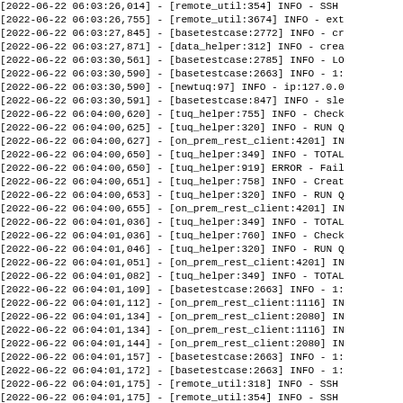Log output lines from 2022-06-22 showing timestamps and module info messages